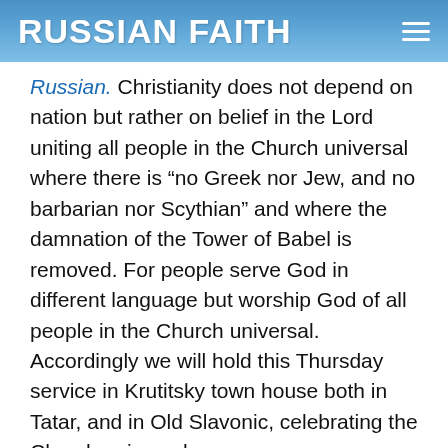RUSSIAN FAITH
Russian. Christianity does not depend on nation but rather on belief in the Lord uniting all people in the Church universal where there is “no Greek nor Jew, and no barbarian nor Scythian” and where the damnation of the Tower of Babel is removed. For people serve God in different language but worship God of all people in the Church universal. Accordingly we will hold this Thursday service in Krutitsky town house both in Tatar, and in Old Slavonic, celebrating the Church universal.
In the Caucasus, Shariah, or the divine Law of Islam, was combined with the traditional Turkic